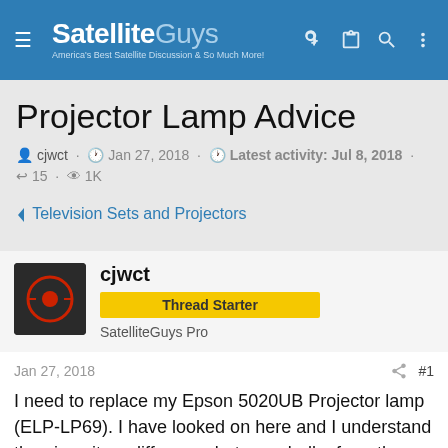SatelliteGuys — America's Best Satellite Discussion & So Much More!
Projector Lamp Advice
cjwct · Jan 27, 2018 · Latest activity: Jul 8, 2018 · 15 · 1K
< Television Sets and Projectors
cjwct — Thread Starter — SatelliteGuys Pro
Jan 27, 2018  #1
I need to replace my Epson 5020UB Projector lamp (ELP-LP69). I have looked on here and I understand thee is quite a difference between bulbs from the original manufacture and off brands. However, in my